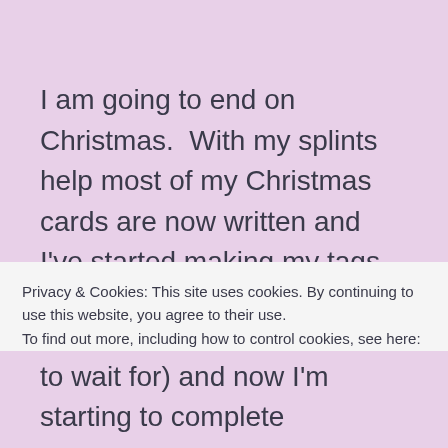I am going to end on Christmas.  With my splints help most of my Christmas cards are now written and I've started making my tags too.  I might share some of my mum's amazing decorations in another post because she's still going at the moment, but for now my tags are started, cards are being written and I'm still
Privacy & Cookies: This site uses cookies. By continuing to use this website, you agree to their use.
To find out more, including how to control cookies, see here:
Cookie Policy
Close and accept
to wait for) and now I'm starting to complete